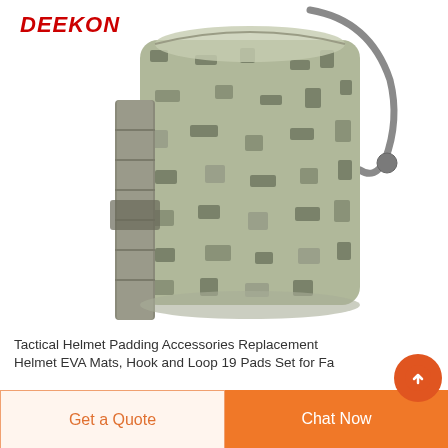[Figure (photo): A tactical MOLLE water bottle pouch/canteen carrier in ACU digital camouflage pattern with webbing strap attachment, drawstring top, and paracord. Shown on a white background.]
DEEKON
Tactical Helmet Padding Accessories Replacement
Helmet EVA Mats, Hook and Loop 19 Pads Set for Fa...